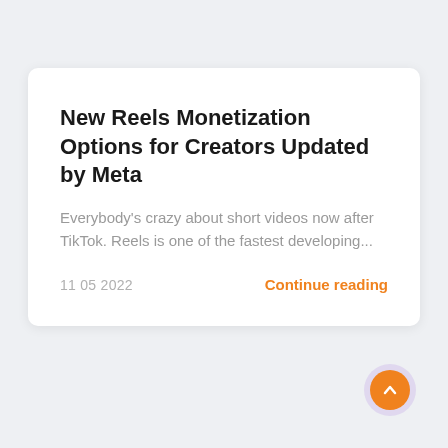New Reels Monetization Options for Creators Updated by Meta
Everybody's crazy about short videos now after TikTok. Reels is one of the fastest developing...
11 05 2022
Continue reading